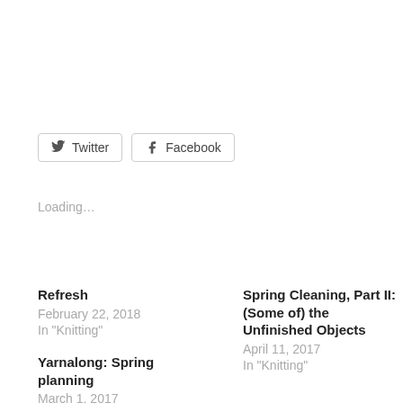[Figure (other): Social share buttons: Twitter and Facebook]
Loading…
Refresh
February 22, 2018
In "Knitting"
Spring Cleaning, Part II: (Some of) the Unfinished Objects
April 11, 2017
In "Knitting"
Yarnalong: Spring planning
March 1, 2017
In "Knitting"